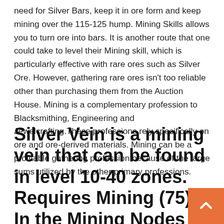need for Silver Bars, keep it in ore form and keep mining over the 115-125 hump. Mining Skills allows you to turn ore into bars. It is another route that one could take to level their Mining skill, which is particularly effective with rare ores such as Silver Ore. However, gathering rare ores isn't too reliable other than purchasing them from the Auction House. Mining is a complementary profession to Blacksmithing, Engineering and Jewelcrafting.These professions rely specifically on ore and ore-derived materials. Mining can be a profitable gathering profession because of the large sums utilized by the other primary professions.
Silver Vein is a mining vein that can be found in level 10-40 zones. Requires Mining (75). In the Mining Nodes category. An object